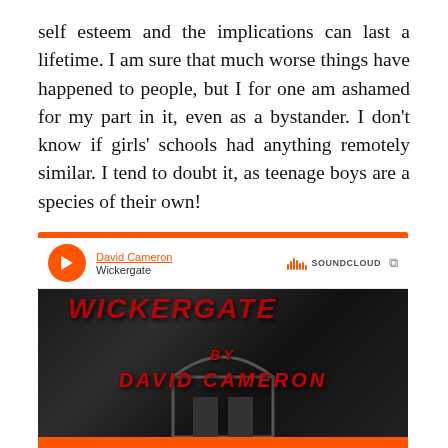self esteem and the implications can last a lifetime. I am sure that much worse things have happened to people, but I for one am ashamed for my part in it, even as a bystander. I don't know if girls' schools had anything remotely similar. I tend to doubt it, as teenage boys are a species of their own!
[Figure (screenshot): SoundCloud embedded player widget showing 'Wickergate by David Cameron' with orange play button, dark graffiti-style artwork, 'Play on SoundCloud' orange button, and 'Listen in browser' text at bottom.]